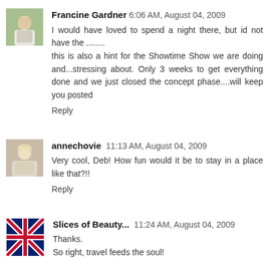[Figure (photo): Avatar photo of Francine Gardner, woman in light colored outfit outdoors]
Francine Gardner 6:06 AM, August 04, 2009
I would have loved to spend a night there, but id not have the ........
this is also a hint for the Showtime Show we are doing and...stressing about. Only 3 weeks to get everything done and we just closed the concept phase....will keep you posted
Reply
[Figure (photo): Avatar photo of annechovie, woman with light hair]
annechovie 11:13 AM, August 04, 2009
Very cool, Deb! How fun would it be to stay in a place like that?!!
Reply
[Figure (illustration): Avatar image for Slices of Beauty, Union Jack flag themed image]
Slices of Beauty... 11:24 AM, August 04, 2009
Thanks.
So right, travel feeds the soul!